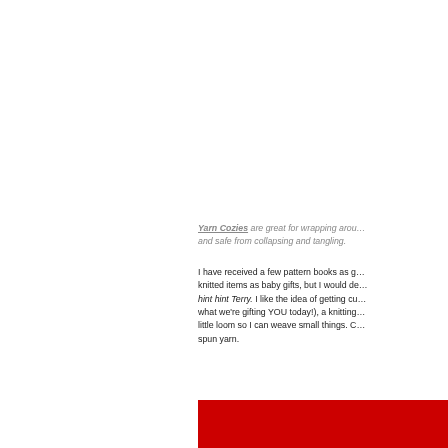Yarn Cozies are great for wrapping around your yarn and safe from collapsing and tangling.
I have received a few pattern books as gifts, knitted items as baby gifts, but I would de... hint hint Terry. I like the idea of getting cu... what we're gifting YOU today!), a knitting... little loom so I can weave small things. C... spun yarn.